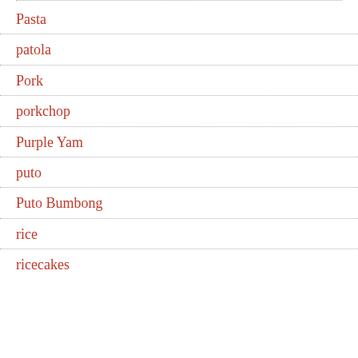Pasta
patola
Pork
porkchop
Purple Yam
puto
Puto Bumbong
rice
ricecakes